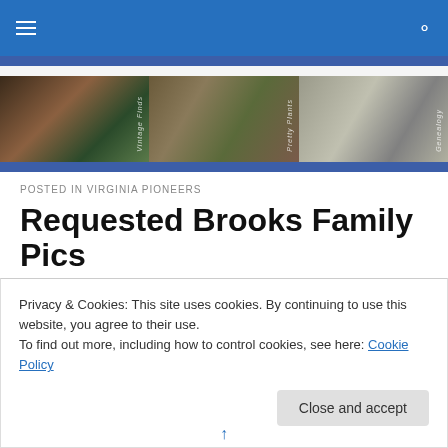Navigation bar with hamburger menu and search icon
[Figure (photo): Three-panel banner image: left panel shows vintage ceramic/metal object with foliage labeled 'Vintage Finds', center panel shows bamboo and flowers labeled 'Pretty Plants', right panel shows vintage black and white photo of children labeled 'Genealogy']
POSTED IN VIRGINIA PIONEERS
Requested Brooks Family Pics
Privacy & Cookies: This site uses cookies. By continuing to use this website, you agree to their use.
To find out more, including how to control cookies, see here: Cookie Policy